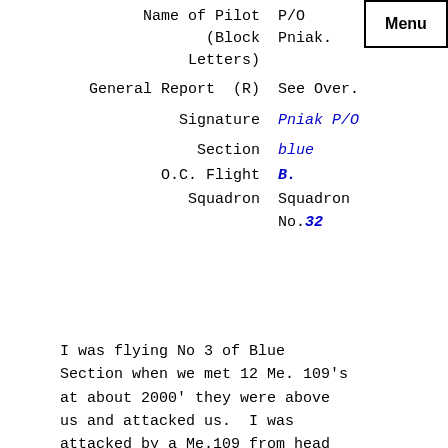Name of Pilot (Block Letters)    P/O    Pniak.
General Report  (R)    See Over.
Signature    Pniak P/O
Section    blue
O.C. Flight    B.
Squadron    Squadron No.32
I was flying No 3 of Blue Section when we met 12 Me. 109's at about 2000' they were above us and attacked us.  I was attacked by a Me.109 from head